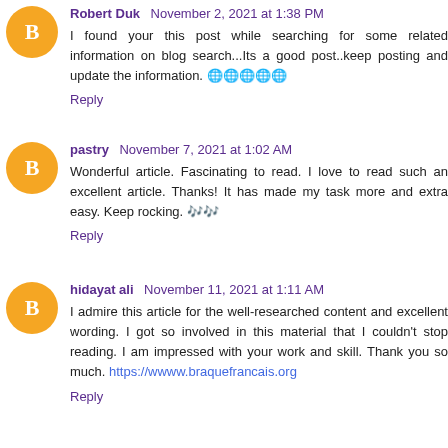Robert Duk November 2, 2021 at 1:38 PM
I found your this post while searching for some related information on blog search...Its a good post..keep posting and update the information. 🌐🌐🌐🌐🌐
Reply
pastry November 7, 2021 at 1:02 AM
Wonderful article. Fascinating to read. I love to read such an excellent article. Thanks! It has made my task more and extra easy. Keep rocking. 🎶🎶
Reply
hidayat ali November 11, 2021 at 1:11 AM
I admire this article for the well-researched content and excellent wording. I got so involved in this material that I couldn't stop reading. I am impressed with your work and skill. Thank you so much. https://wwww.braquefrancais.org
Reply